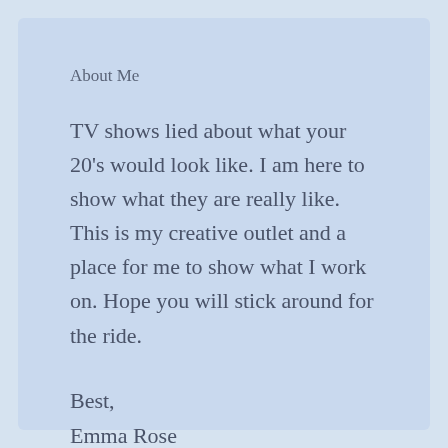About Me
TV shows lied about what your 20's would look like. I am here to show what they are really like. This is my creative outlet and a place for me to show what I work on. Hope you will stick around for the ride.
Best,
Emma Rose